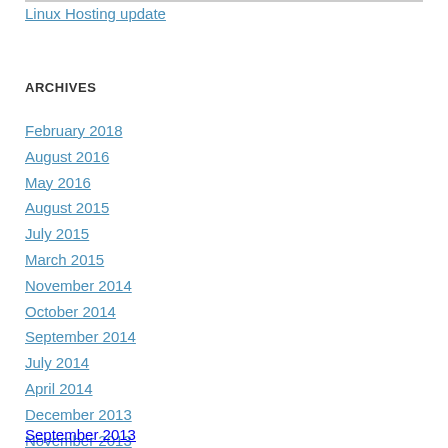Linux Hosting update
ARCHIVES
February 2018
August 2016
May 2016
August 2015
July 2015
March 2015
November 2014
October 2014
September 2014
July 2014
April 2014
December 2013
November 2013
September 2013 (partial)